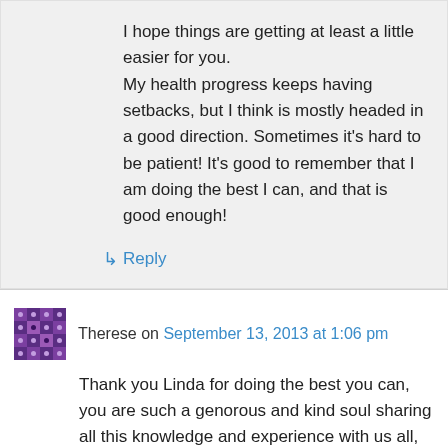I hope things are getting at least a little easier for you.
My health progress keeps having setbacks, but I think is mostly headed in a good direction. Sometimes it's hard to be patient! It's good to remember that I am doing the best I can, and that is good enough!
↳ Reply
Therese on September 13, 2013 at 1:06 pm
Thank you Linda for doing the best you can, you are such a genorous and kind soul sharing all this knowledge and experience with us all, it's so much more than just good enough. You help us